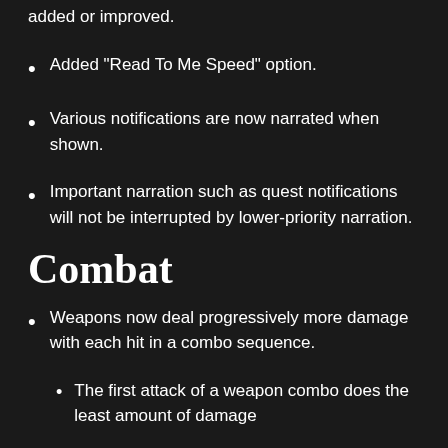added or improved.
Added "Read To Me Speed" option.
Various notifications are now narrated when shown.
Important narration such as quest notifications will not be interrupted by lower-priority narration.
Combat
Weapons now deal progressively more damage with each hit in a combo sequence.
The first attack of a weapon combo does the least amount of damage